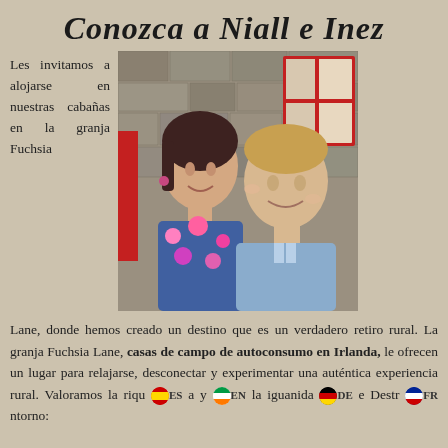Conozca a Niall e Inez
[Figure (photo): Photo of Niall and Inez, a couple smiling in front of a stone building with red-framed windows]
Les invitamos a alojarse en nuestras cabañas en la granja Fuchsia Lane, donde hemos creado un destino que es un verdadero retiro rural. La granja Fuchsia Lane, casas de campo de autoconsumo en Irlanda, le ofrecen un lugar para relajarse, desconectar y experimentar una auténtica experiencia rural. Valoramos la riqueza y la igualdad de nuestro entorno: